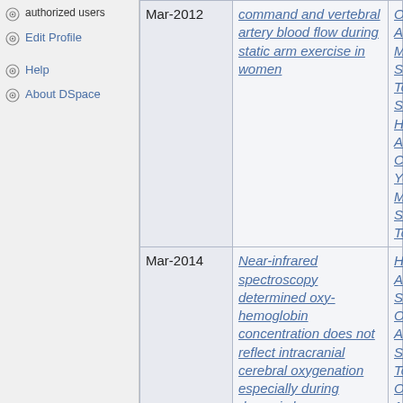authorized users
Edit Profile
Help
About DSpace
| Date | Title | Authors |
| --- | --- | --- |
| Mar-2012 | command and vertebral artery blood flow during static arm exercise in women | Ooue, Anna; Marina; Sadamoto, Tomoko; Sato, Hirasawa, Ai; C Yoneya, Marina Sadamoto, Tor |
| Mar-2014 | Near-infrared spectroscopy determined oxy-hemoglobin concentration does not reflect intracranial cerebral oxygenation especially during dynamic heavy exercise | Hirasawa, Ai; S Ooue, Anna; S Tomoko; Ogoh 1.Hirasawa, Ai; Kohei; 2.Ooue, 2.Sadamoto, T 4.Ogoh, Shigel Graduate Scho Engineering,To University,Saita Research instit Physical Fitnes Women's Colle Physical Education,Toky Faculty of food sciences,Toyo University,Gun Department of |